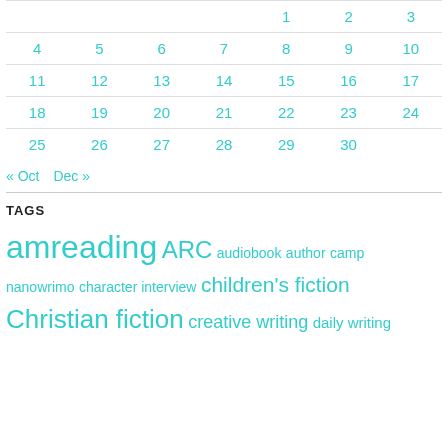|  |  |  |  | 1 | 2 | 3 |
| --- | --- | --- | --- | --- | --- | --- |
| 4 | 5 | 6 | 7 | 8 | 9 | 10 |
| 11 | 12 | 13 | 14 | 15 | 16 | 17 |
| 18 | 19 | 20 | 21 | 22 | 23 | 24 |
| 25 | 26 | 27 | 28 | 29 | 30 |  |
« Oct   Dec »
TAGS
amreading ARC audiobook author camp nanowrimo character interview children's fiction Christian fiction creative writing daily writing